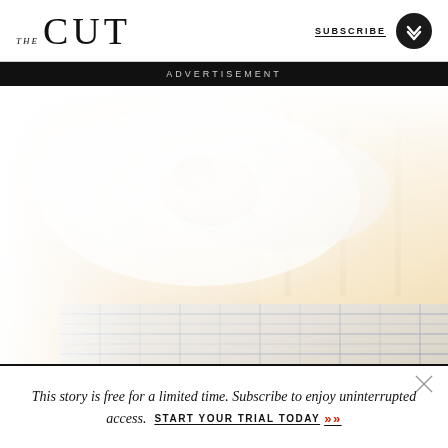THE CUT  SUBSCRIBE
ADVERTISEMENT
[Figure (photo): Advertisement image showing a luxurious mattress with white fluffy bedding, a person resting, and a bright window in the background. The image has a soft, warm, overexposed feel.]
This story is free for a limited time. Subscribe to enjoy uninterrupted access. START YOUR TRIAL TODAY »